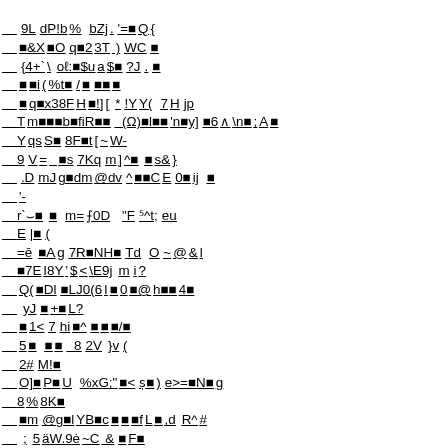Corrupted/encoded binary content displayed as diamond replacement characters mixed with ASCII text fragments across multiple underlined lines